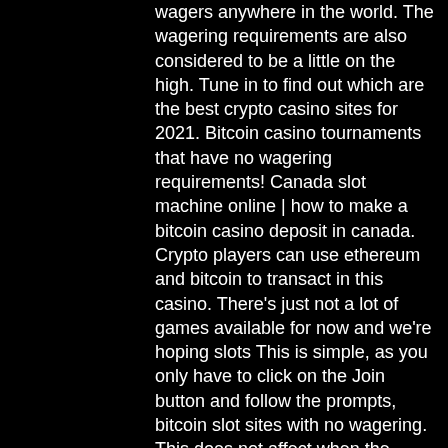wagers anywhere in the world. The wagering requirements are also considered to be a little on the high. Tune in to find out which are the best crypto casino sites for 2021. Bitcoin casino tournaments that have no wagering requirements! Canada slot machine online | how to make a bitcoin casino deposit in canada. Crypto players can use ethereum and bitcoin to transact in this casino. There's just not a lot of games available for now and we're hoping slots This is simple, as you only have to click on the Join button and follow the prompts, bitcoin slot sites with no wagering. This does not affect when the payout occurs, but does up the amount that can be won. The progressive slot offers the big money. Every time someone plays it the jackpot amount grows. When it is won, it resets; simple, cosmic spins free spins. A no-wagering bonus is a bonus without a